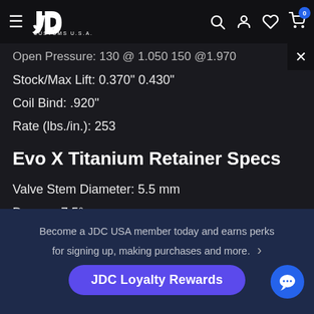JD Customs U.S.A. — navigation header with hamburger menu, logo, search, account, wishlist, and cart (0 items)
Open Pressure: 130 @ 1.050  150 @1.970
Stock/Max Lift: 0.370" 0.430"
Coil Bind: .920"
Rate (lbs./in.): 253
Evo X Titanium Retainer Specs
Valve Stem Diameter: 5.5 mm
Degree: 7.5°
Dimensions A: .960°
Dimensions B: .690°
Become a JDC USA member today and earns perks for signing up, making purchases and more.
JDC Loyalty Rewards